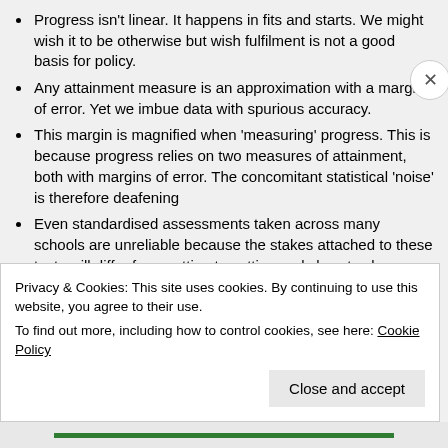Progress isn't linear. It happens in fits and starts. We might wish it to be otherwise but wish fulfilment is not a good basis for policy.
Any attainment measure is an approximation with a margin of error. Yet we imbue data with spurious accuracy.
This margin is magnified when 'measuring' progress. This is because progress relies on two measures of attainment, both with margins of error. The concomitant statistical 'noise' is therefore deafening
Even standardised assessments taken across many schools are unreliable because the stakes attached to these tests will differ from setting to setting and class to class. Children do better when they know the test is
Privacy & Cookies: This site uses cookies. By continuing to use this website, you agree to their use.
To find out more, including how to control cookies, see here: Cookie Policy